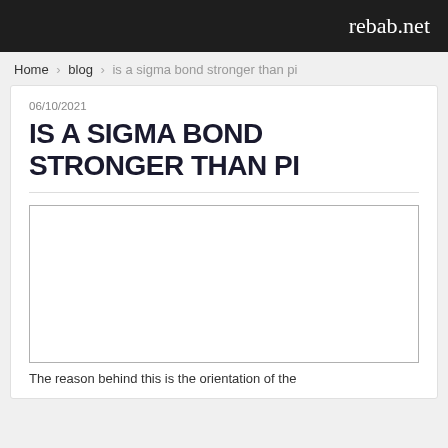rebab.net
Home › blog › is a sigma bond stronger than pi
06/10/2021
IS A SIGMA BOND STRONGER THAN PI
[Figure (other): Empty white image placeholder with gray border]
The reason behind this is the orientation of the